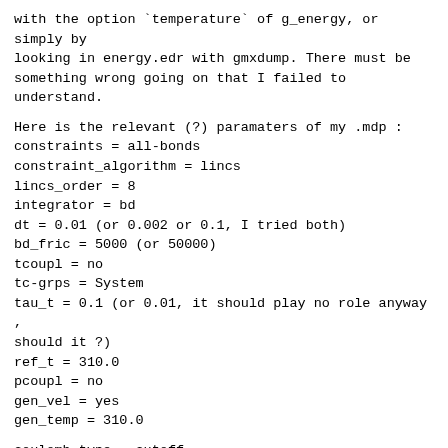with the option `temperature` of g_energy, or simply by looking in energy.edr with gmxdump. There must be something wrong going on that I failed to understand.
Here is the relevant (?) paramaters of my .mdp :
constraints = all-bonds
constraint_algorithm = lincs
lincs_order = 8
integrator = bd
dt = 0.01 (or 0.002 or 0.1, I tried both)
bd_fric = 5000 (or 50000)
tcoupl = no
tc-grps = System
tau_t = 0.1 (or 0.01, it should play no role anyway , should it ?)
ref_t = 310.0
pcoupl = no
gen_vel = yes
gen_temp = 310.0
coulomb_type = cutoff
vdwtype = cut-off
rcoulomb = 1.2
rvdw = 1.2
rlist = 1.2
My system is a  RNA + ffamber99 tip3p + NaCl. I did previous energy minimizations
that worked fine. I tried runs with different temperatures but the temperature of
the simulation is always containing this